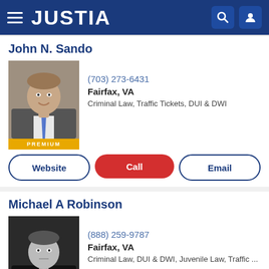JUSTIA
John N. Sando
(703) 273-6431
Fairfax, VA
Criminal Law, Traffic Tickets, DUI & DWI
Michael A Robinson
(888) 259-9787
Fairfax, VA
Criminal Law, DUI & DWI, Juvenile Law, Traffic ...